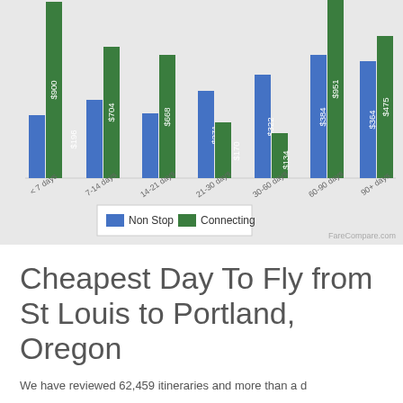[Figure (grouped-bar-chart): ]
Cheapest Day To Fly from St Louis to Portland, Oregon
We have reviewed 62,459 itineraries and more than a d...